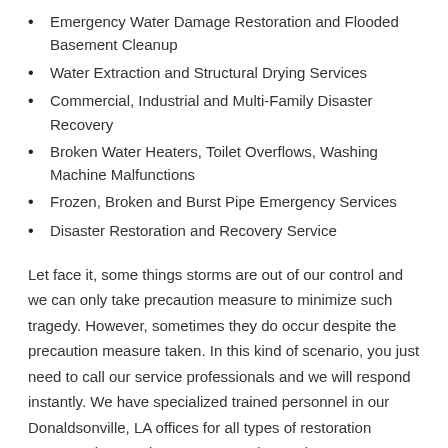Emergency Water Damage Restoration and Flooded Basement Cleanup
Water Extraction and Structural Drying Services
Commercial, Industrial and Multi-Family Disaster Recovery
Broken Water Heaters, Toilet Overflows, Washing Machine Malfunctions
Frozen, Broken and Burst Pipe Emergency Services
Disaster Restoration and Recovery Service
Let face it, some things storms are out of our control and we can only take precaution measure to minimize such tragedy. However, sometimes they do occur despite the precaution measure taken. In this kind of scenario, you just need to call our service professionals and we will respond instantly. We have specialized trained personnel in our Donaldsonville, LA offices for all types of restoration emergencies. Further, we are good at saving your valuables to ensure that such a tragedy doesn't cause further depressions. Our experience in helping both homeowners and